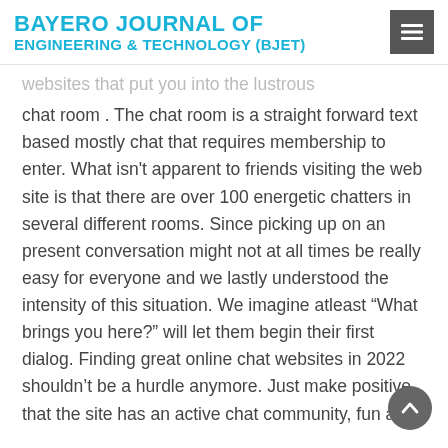BAYERO JOURNAL OF ENGINEERING & TECHNOLOGY (BJET)
websites that put you into the lustrous chat room . The chat room is a straight forward text based mostly chat that requires membership to enter. What isn't apparent to friends visiting the web site is that there are over 100 energetic chatters in several different rooms. Since picking up on an present conversation might not at all times be really easy for everyone and we lastly understood the intensity of this situation. We imagine atleast “What brings you here?” will let them begin their first dialog. Finding great online chat websites in 2022 shouldn’t be a hurdle anymore. Just make positive that the site has an active chat community, fun and